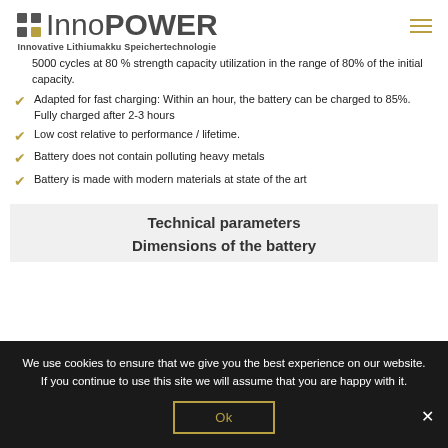[Figure (logo): InnoPOWER logo with grid icon and tagline 'Innovative Lithiumakku Speichertechnologie']
5000 cycles at 80 % strength capacity utilization in the range of 80% of the initial capacity.
Adapted for fast charging: Within an hour, the battery can be charged to 85%. Fully charged after 2-3 hours
Low cost relative to performance / lifetime.
Battery does not contain polluting heavy metals
Battery is made with modern materials at state of the art
Technical parameters
Dimensions of the battery
We use cookies to ensure that we give you the best experience on our website. If you continue to use this site we will assume that you are happy with it.